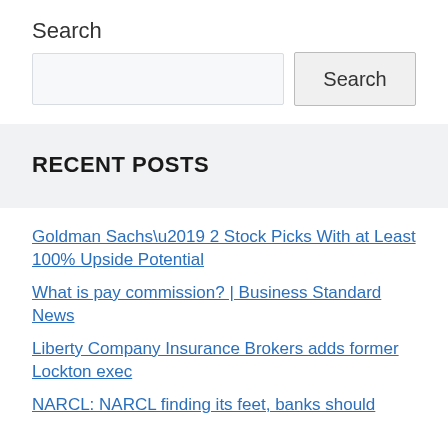Search
Search input and Search button
RECENT POSTS
Goldman Sachs’ 2 Stock Picks With at Least 100% Upside Potential
What is pay commission? | Business Standard News
Liberty Company Insurance Brokers adds former Lockton exec
NARCL: NARCL finding its feet, banks should